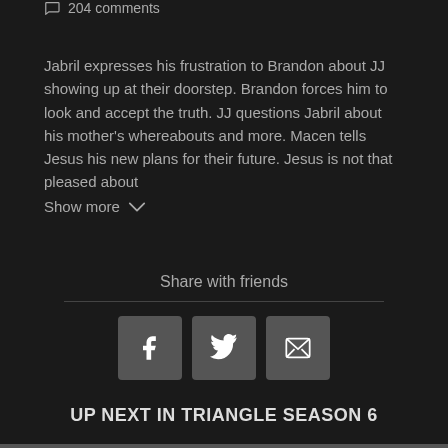204 comments
Jabril expresses his frustration to Brandon about JJ showing up at their doorstep. Brandon forces him to look and accept the truth. JJ questions Jabril about his mother's whereabouts and more. Macen tells Jesus his new plans for their future. Jesus is not that pleased about
Show more
Share with friends
[Figure (infographic): Three social share buttons: Facebook (f), Twitter (bird icon), Email (envelope icon)]
UP NEXT IN TRIANGLE SEASON 6